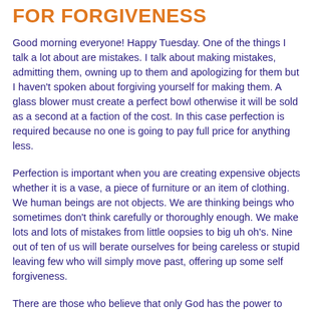FOR FORGIVENESS
Good morning everyone!  Happy Tuesday.  One of the things I talk a lot about are mistakes.  I talk about making mistakes, admitting them, owning up to them and apologizing for them but I haven't spoken about forgiving yourself for making them.  A glass blower must create a perfect bowl otherwise it will be sold as a second at a faction of the cost.  In this case perfection is required because no one is going to pay full price for anything less.
Perfection is important when you are creating expensive objects whether it is a vase, a piece of furniture or an item of clothing.  We human beings are not objects.  We are thinking beings who sometimes don't think carefully or thoroughly enough.  We make lots and lots of mistakes from little oopsies to big uh oh's.  Nine out of ten of us will berate ourselves for being careless or stupid leaving few who will simply move past, offering up some self forgiveness.
There are those who believe that only God has the power to forgive.  Well, forgive me for saying this but if that is your